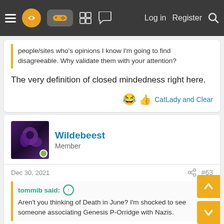Log in  Register
people/sites who's opinions I know I'm going to find disagreeable. Why validate them with your attention?
The very definition of closed mindedness right here.
CatLady and Clear
Wildebeest
Member
Dec 30, 2021
#63
tommib said:
Aren't you thinking of Death in June? I'm shocked to see someone associating Genesis P-Orridge with Nazis.
Their band logo is like an SS lightning flash or something